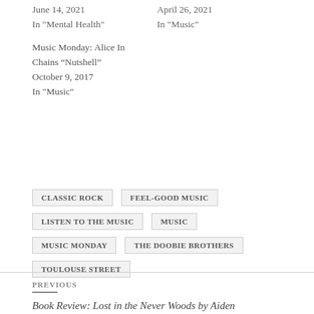June 14, 2021
In "Mental Health"
April 26, 2021
In "Music"
Music Monday: Alice In Chains “Nutshell”
October 9, 2017
In "Music"
CLASSIC ROCK
FEEL-GOOD MUSIC
LISTEN TO THE MUSIC
MUSIC
MUSIC MONDAY
THE DOOBIE BROTHERS
TOULOUSE STREET
PREVIOUS
Book Review: Lost in the Never Woods by Aiden